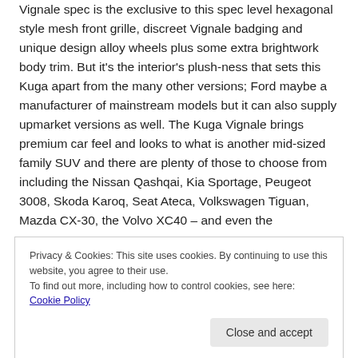Vignale spec is the exclusive to this spec level hexagonal style mesh front grille, discreet Vignale badging and unique design alloy wheels plus some extra brightwork body trim. But it's the interior's plush-ness that sets this Kuga apart from the many other versions; Ford maybe a manufacturer of mainstream models but it can also supply upmarket versions as well. The Kuga Vignale brings premium car feel and looks to what is another mid-sized family SUV and there are plenty of those to choose from including the Nissan Qashqai, Kia Sportage, Peugeot 3008, Skoda Karoq, Seat Ateca, Volkswagen Tiguan, Mazda CX-30, the Volvo XC40 – and even the
Privacy & Cookies: This site uses cookies. By continuing to use this website, you agree to their use.
To find out more, including how to control cookies, see here: Cookie Policy
progressed and evolved through to the second